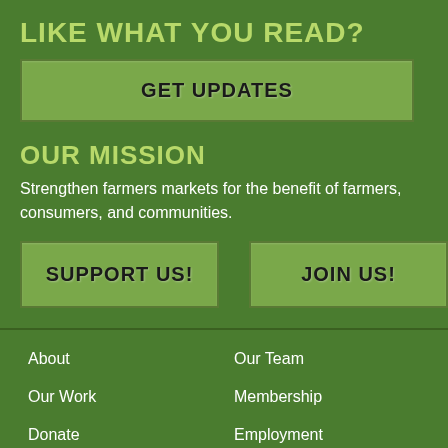LIKE WHAT YOU READ?
GET UPDATES
OUR MISSION
Strengthen farmers markets for the benefit of farmers, consumers, and communities.
SUPPORT US!
JOIN US!
About
Our Team
Our Work
Membership
Donate
Employment
Contact